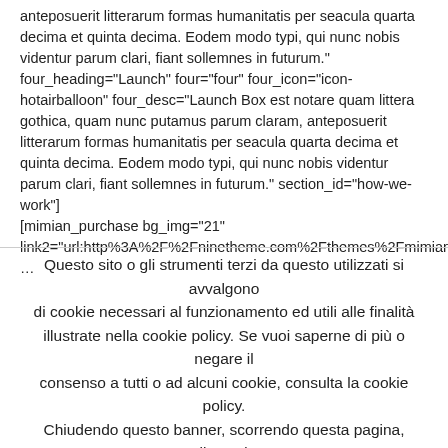anteposuerit litterarum formas humanitatis per seacula quarta decima et quinta decima. Eodem modo typi, qui nunc nobis videntur parum clari, fiant sollemnes in futurum." four_heading="Launch" four="four" four_icon="icon-hotairballoon" four_desc="Launch Box est notare quam littera gothica, quam nunc putamus parum claram, anteposuerit litterarum formas humanitatis per seacula quarta decima et quinta decima. Eodem modo typi, qui nunc nobis videntur parum clari, fiant sollemnes in futurum." section_id="how-we-work"]
[mimian_purchase bg_img="21" link2="url:http%3A%2F%2Fninetheme.com%2Fthemes%2Fmimian%2...
Questo sito o gli strumenti terzi da questo utilizzati si avvalgono di cookie necessari al funzionamento ed utili alle finalità illustrate nella cookie policy. Se vuoi saperne di più o negare il consenso a tutti o ad alcuni cookie, consulta la cookie policy. Chiudendo questo banner, scorrendo questa pagina, cliccando su un link o proseguendo la navigazione in altra maniera, acconsenti all'uso dei cookie. Accetta Leggi l'informativa estesa